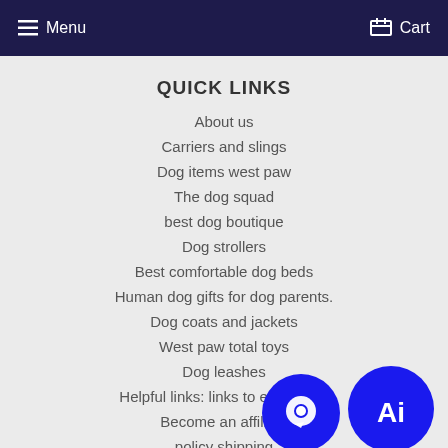Menu   Cart
QUICK LINKS
About us
Carriers and slings
Dog items west paw
The dog squad
best dog boutique
Dog strollers
Best comfortable dog beds
Human dog gifts for dog parents.
Dog coats and jackets
West paw total toys
Dog leashes
Helpful links: links to everything
Become an affiliate
policy shipping